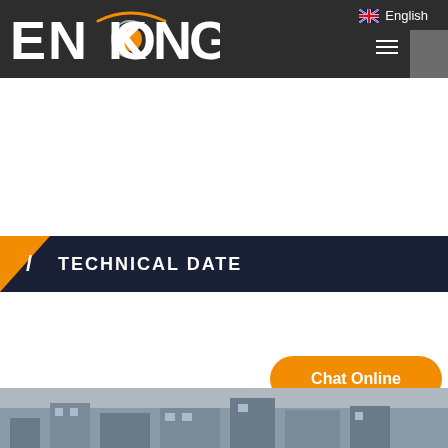ENKONG — English
TECHNICAL DATE
[Figure (photo): Factory/machinery aerial or wide-angle photo showing industrial glass machinery equipment]
Chat Online